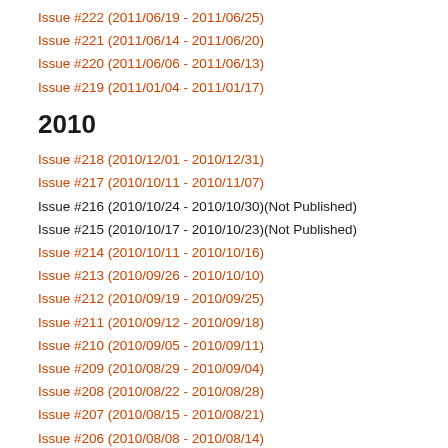Issue #222 (2011/06/19 - 2011/06/25)
Issue #221 (2011/06/14 - 2011/06/20)
Issue #220 (2011/06/06 - 2011/06/13)
Issue #219 (2011/01/04 - 2011/01/17)
2010
Issue #218 (2010/12/01 - 2010/12/31)
Issue #217 (2010/10/11 - 2010/11/07)
Issue #216 (2010/10/24 - 2010/10/30)(Not Published)
Issue #215 (2010/10/17 - 2010/10/23)(Not Published)
Issue #214 (2010/10/11 - 2010/10/16)
Issue #213 (2010/09/26 - 2010/10/10)
Issue #212 (2010/09/19 - 2010/09/25)
Issue #211 (2010/09/12 - 2010/09/18)
Issue #210 (2010/09/05 - 2010/09/11)
Issue #209 (2010/08/29 - 2010/09/04)
Issue #208 (2010/08/22 - 2010/08/28)
Issue #207 (2010/08/15 - 2010/08/21)
Issue #206 (2010/08/08 - 2010/08/14)
Issue #205 (2010/08/01 - 2010/08/07)
Issue #204 (2010/07/19 - 2010/07/31)
Issue #203 (2010/07/18 - 2010/07/24)
Issue #202 (2010/07/11 - 2010/07/17)